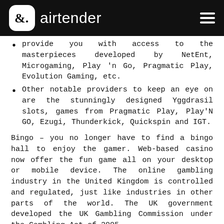airtender
provide you with access to the masterpieces developed by NetEnt, Microgaming, Play 'n Go, Pragmatic Play, Evolution Gaming, etc.
Other notable providers to keep an eye on are the stunningly designed Yggdrasil slots, games from Pragmatic Play, Play'N GO, Ezugi, Thunderkick, Quickspin and IGT.
Bingo – you no longer have to find a bingo hall to enjoy the gamer. Web-based casino now offer the fun game all on your desktop or mobile device. The online gambling industry in the United Kingdom is controlled and regulated, just like industries in other parts of the world. The UK government developed the UK Gambling Commission under the Gambling Act of 2005.